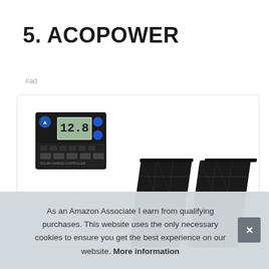5. ACOPOWER
#ad
[Figure (photo): Product photo showing an ACOPOWER solar charge controller with LCD display showing 12.8, alongside a foldable black solar panel]
As an Amazon Associate I earn from qualifying purchases. This website uses the only necessary cookies to ensure you get the best experience on our website. More information